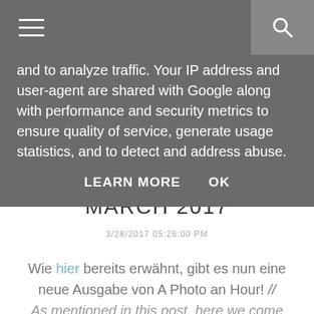☰  🔍
and to analyze traffic. Your IP address and user-agent are shared with Google along with performance and security metrics to ensure quality of service, generate usage statistics, and to detect and address abuse.
LEARN MORE   OK
A PHOTO AN HOUR IN MARCH 2017
3/28/2017 05:26:00 PM
Wie hier bereits erwähnt, gibt es nun eine neue Ausgabe von A Photo an Hour! // As mentioned in this post, here we come